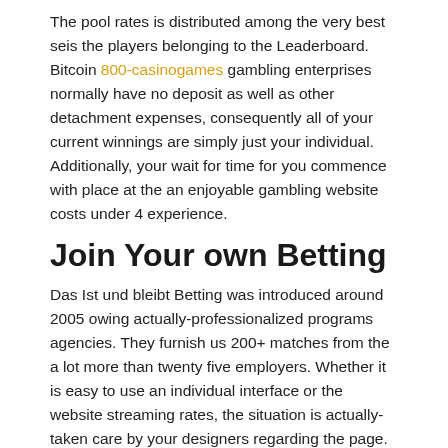The pool rates is distributed among the very best seis the players belonging to the Leaderboard. Bitcoin 800-casinogames gambling enterprises normally have no deposit as well as other detachment expenses, consequently all of your current winnings are simply just your individual. Additionally, your wait for time for you commence with place at the an enjoyable gambling website costs under 4 experience.
Join Your own Betting
Das Ist und bleibt Betting was introduced around 2005 owing actually-professionalized programs agencies. They furnish us 200+ matches from the a lot more than twenty five employers. Whether it is easy to use an individual interface or the website streaming rates, the situation is actually-taken care by your designers regarding the page. This 1 betting claims the same user experience you'll be able to themobile appas effectively and also to runs without any errors.